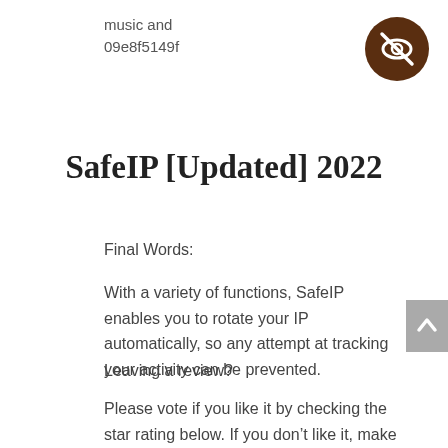music and
09e8f5149f
[Figure (logo): Dark brown circular icon with a crossed-out eye symbol (privacy/hidden icon)]
SafeIP [Updated] 2022
Final Words:
With a variety of functions, SafeIP enables you to rotate your IP automatically, so any attempt at tracking your activity can be prevented.
Leaving a review?
Please vote if you like it by checking the star rating below. If you don't like it, make sure to notify us so that we can improve it. And no, we